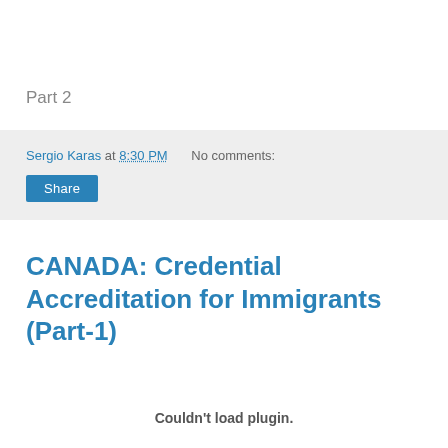Part 2
Sergio Karas at 8:30 PM   No comments:
Share
CANADA: Credential Accreditation for Immigrants (Part-1)
Couldn't load plugin.